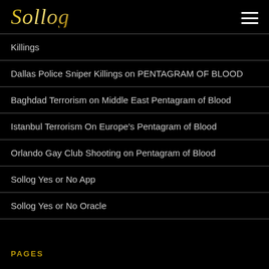Sollog
Killings
Dallas Police Sniper Killings on PENTAGRAM OF BLOOD
Baghdad Terrorism on Middle East Pentagram of Blood
Istanbul Terrorism On Europe's Pentagram of Blood
Orlando Gay Club Shooting on Pentagram of Blood
Sollog Yes or No App
Sollog Yes or No Oracle
PAGES